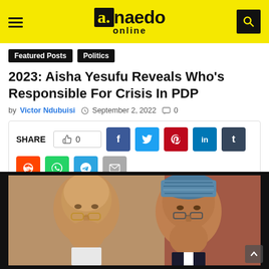a.naedo online
Featured Posts
Politics
2023: Aisha Yesufu Reveals Who's Responsible For Crisis In PDP
by Victor Ndubuisi  September 2, 2022  0
[Figure (infographic): Social share bar with SHARE label, thumbs up count 0, and social media buttons: Facebook, Twitter, Pinterest, LinkedIn, Tumblr, Reddit, WhatsApp, Telegram, Email]
[Figure (photo): Photo of two men, one bald wearing glasses on the left, one wearing a blue patterned cap on the right]